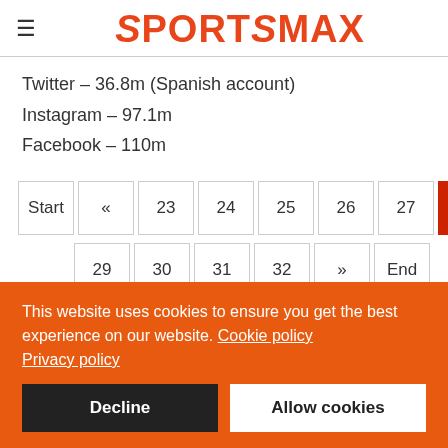SPORTSMAX
Twitter – 36.8m (Spanish account)
Instagram – 97.1m
Facebook – 110m
Pagination: Start « 23 24 25 26 27 28(active) 29 30 31 32 » End
This website uses cookies to ensure you get the best experience on our website. Cookie policy
Privacy policy
[Decline] [Allow cookies]